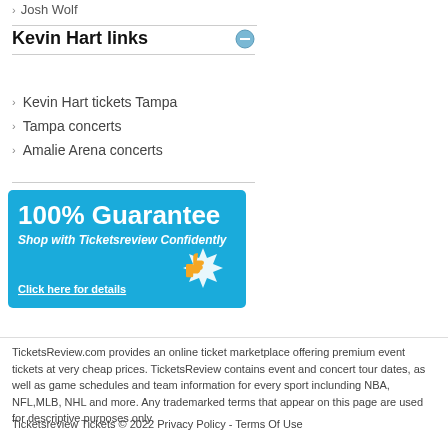Josh Wolf
Kevin Hart links
Kevin Hart tickets Tampa
Tampa concerts
Amalie Arena concerts
[Figure (infographic): 100% Guarantee - Shop with Ticketsreview Confidently - Click here for details banner with thumbs up icon on blue background]
TicketsReview.com provides an online ticket marketplace offering premium event tickets at very cheap prices. TicketsReview contains event and concert tour dates, as well as game schedules and team information for every sport inclunding NBA, NFL,MLB, NHL and more. Any trademarked terms that appear on this page are used for descriptive purposes only.
Ticketsreview Tickets © 2022 Privacy Policy - Terms Of Use